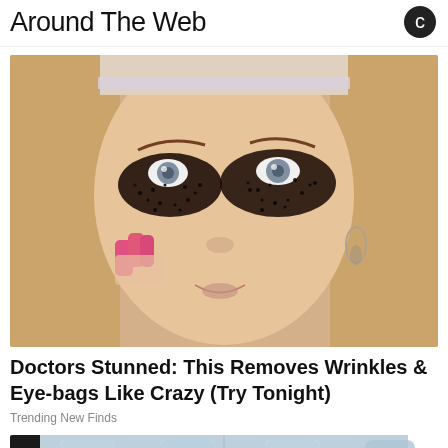Around The Web
[Figure (photo): Close-up of a blonde woman applying dark coffee grounds or similar granular substance around her eyes as a beauty treatment, with pink nail polish and silver earrings visible]
Doctors Stunned: This Removes Wrinkles & Eye-bags Like Crazy (Try Tonight)
Trending New Finds
[Figure (photo): Partial view of water bottles or similar blue-tinted containers on a surface]